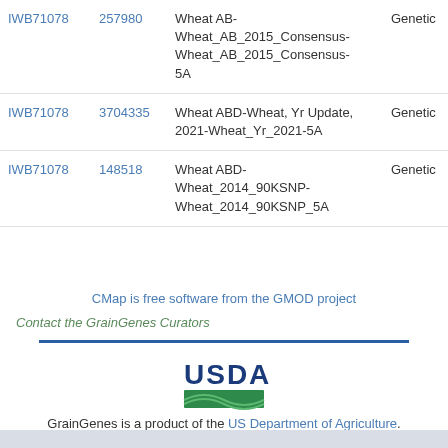| Marker | ID | Map | Type |  |
| --- | --- | --- | --- | --- |
| IWB71078 | 257980 | Wheat AB-Wheat_AB_2015_Consensus-Wheat_AB_2015_Consensus-5A | Genetic | N |
| IWB71078 | 3704335 | Wheat ABD-Wheat, Yr Update, 2021-Wheat_Yr_2021-5A | Genetic | N |
| IWB71078 | 148518 | Wheat ABD-Wheat_2014_90KSNP-Wheat_2014_90KSNP_5A | Genetic | Te |
CMap is free software from the GMOD project
Contact the GrainGenes Curators
[Figure (logo): USDA logo with green stripe]
GrainGenes is a product of the US Department of Agriculture.